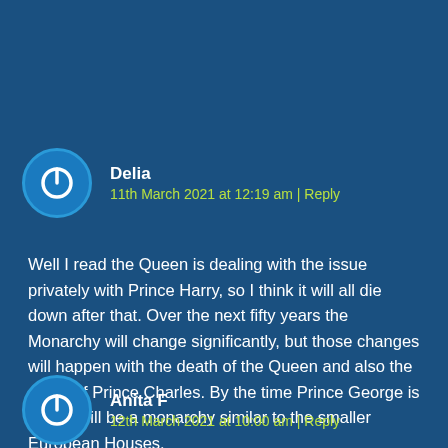Delia
11th March 2021 at 12:19 am | Reply
Well I read the Queen is dealing with the issue privately with Prince Harry, so I think it will all die down after that. Over the next fifty years the Monarchy will change significantly, but those changes will happen with the death of the Queen and also the death of Prince Charles. By the time Prince George is King it will be a monarchy similar to the smaller European Houses.
Anita F
12th March 2021 at 10:00 am | Reply